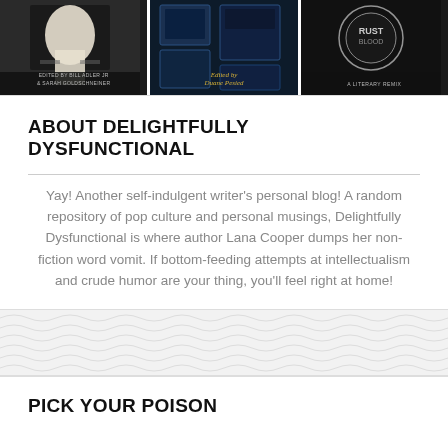[Figure (photo): Three book covers shown side by side. Left: a book edited by Bill Adler Jr & Sarah Goldschneider with a figure in white on dark background. Center: a book edited by Duane Pesied with blue-tinted TV/screen imagery. Right: a book titled 'Rust & Blood: A Literary Remix' with grunge style artwork.]
ABOUT DELIGHTFULLY DYSFUNCTIONAL
Yay! Another self-indulgent writer's personal blog! A random repository of pop culture and personal musings, Delightfully Dysfunctional is where author Lana Cooper dumps her non-fiction word vomit. If bottom-feeding attempts at intellectualism and crude humor are your thing, you'll feel right at home!
PICK YOUR POISON